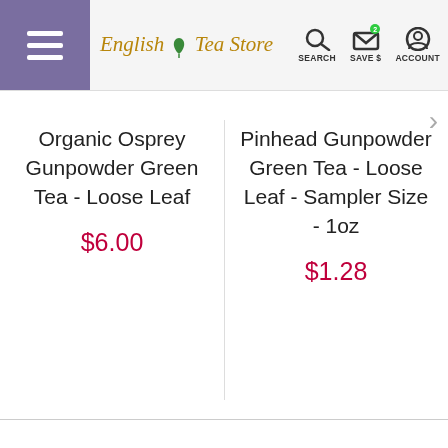English Tea Store — SEARCH, SAVE $, ACCOUNT
Organic Osprey Gunpowder Green Tea - Loose Leaf
$6.00
Pinhead Gunpowder Green Tea - Loose Leaf - Sampler Size - 1oz
$1.28